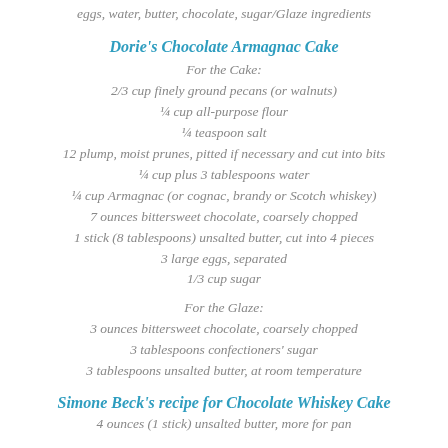eggs, water, butter, chocolate, sugar/Glaze ingredients
Dorie's Chocolate Armagnac Cake
For the Cake:
2/3 cup finely ground pecans (or walnuts)
¼ cup all-purpose flour
¼ teaspoon salt
12 plump, moist prunes, pitted if necessary and cut into bits
¼ cup plus 3 tablespoons water
¼ cup Armagnac (or cognac, brandy or Scotch whiskey)
7 ounces bittersweet chocolate, coarsely chopped
1 stick (8 tablespoons) unsalted butter, cut into 4 pieces
3 large eggs, separated
1/3 cup sugar
For the Glaze:
3 ounces bittersweet chocolate, coarsely chopped
3 tablespoons confectioners' sugar
3 tablespoons unsalted butter, at room temperature
Simone Beck's recipe for Chocolate Whiskey Cake
4 ounces (1 stick) unsalted butter, more for pan